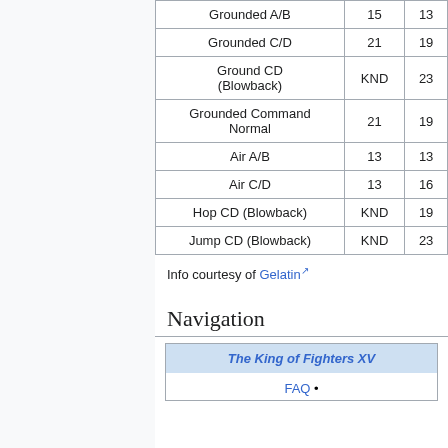|  |  |  |
| --- | --- | --- |
| Grounded A/B | 15 | 13 |
| Grounded C/D | 21 | 19 |
| Ground CD (Blowback) | KND | 23 |
| Grounded Command Normal | 21 | 19 |
| Air A/B | 13 | 13 |
| Air C/D | 13 | 16 |
| Hop CD (Blowback) | KND | 19 |
| Jump CD (Blowback) | KND | 23 |
Info courtesy of Gelatin
Navigation
The King of Fighters XV
FAQ •